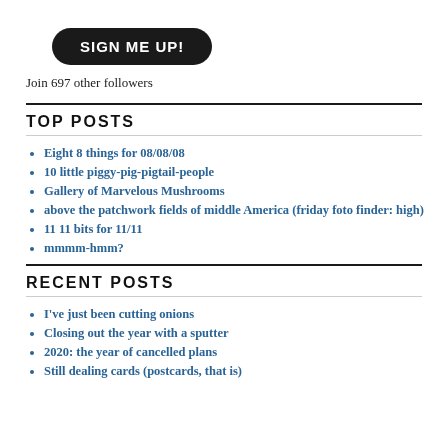[Figure (other): Black rounded button with white bold uppercase text 'SIGN ME UP!']
Join 697 other followers
TOP POSTS
Eight 8 things for 08/08/08
10 little piggy-pig-pigtail-people
Gallery of Marvelous Mushrooms
above the patchwork fields of middle America (friday foto finder: high)
11 11 bits for 11/11
mmmm-hmm?
RECENT POSTS
I've just been cutting onions
Closing out the year with a sputter
2020: the year of cancelled plans
Still dealing cards (postcards, that is)